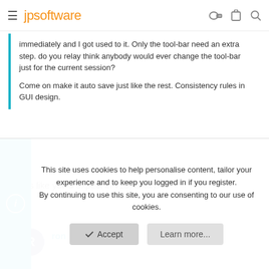jpsoftware
immediately and I got used to it. Only the tool-bar need an extra step. do you relay think anybody would ever change the tool-bar just for the current session?

Come on make it auto save just like the rest. Consistency rules in GUI design.
Works like you'd expect in v13, finally.
ron
This site uses cookies to help personalise content, tailor your experience and to keep you logged in if you register.
By continuing to use this site, you are consenting to our use of cookies.